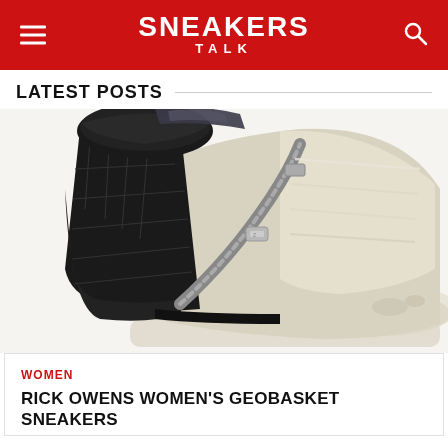SNEAKERS TALK
LATEST POSTS
[Figure (photo): Close-up of Rick Owens Women's Geobasket high-top sneaker showing black quilted leather and cream/off-white distressed leather panels with a large metal zipper running diagonally across the shoe]
WOMEN
RICK OWENS WOMEN'S GEOBASKET SNEAKERS